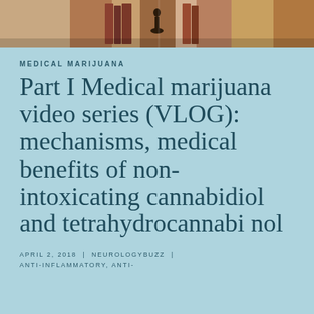[Figure (photo): Cropped photo showing books and a small figurine on a wooden surface]
MEDICAL MARIJUANA
Part I Medical marijuana video series (VLOG): mechanisms, medical benefits of non-intoxicating cannabidiol and tetrahydrocannabinol
APRIL 2, 2018 | NEUROLOGYBUZZ | ANTI-INFLAMMATORY, ANTI-